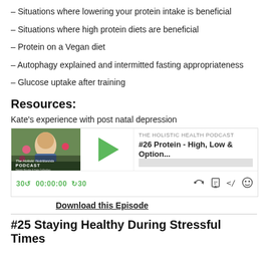– Situations where lowering your protein intake is beneficial
– Situations where high protein diets are beneficial
– Protein on a Vegan diet
– Autophagy explained and intermitted fasting appropriateness
– Glucose uptake after training
Resources:
Kate's experience with post natal depression
[Figure (screenshot): Embedded podcast player for The Holistic Health Podcast episode #26 Protein - High, Low & Option... with play button, time display 00:00:00, and control icons]
Download this Episode
#25 Staying Healthy During Stressful Times